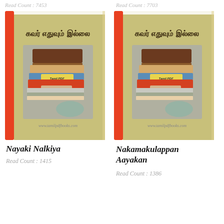Read Count : 7453
Read Count : 7703
[Figure (illustration): Book cover with Tamil text 'கவர் எதுவும் இல்லை' and stacked books illustration with 'Tamil PDF Book Library' watermark and www.tamilpdfbooks.com URL - left book (Nayaki Nalkiya)]
[Figure (illustration): Book cover with Tamil text 'கவர் எதுவும் இல்லை' and stacked books illustration with 'Tamil PDF Book Library' watermark and www.tamilpdfbooks.com URL - right book (Nakamakulappan Aayakan)]
Nayaki Nalkiya
Read Count : 1415
Nakamakulappan Aayakan
Read Count : 1386